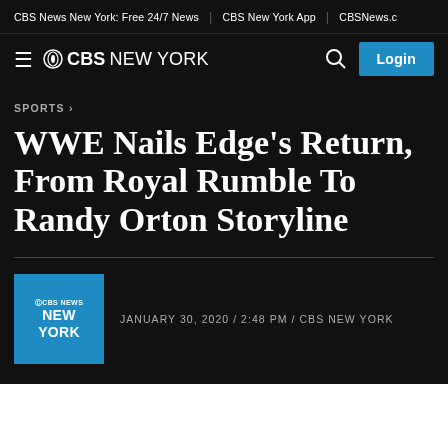CBS News New York: Free 24/7 News | CBS New York App | CBSNews.c
☰ @CBS NEW YORK  🔍  Login
SPORTS ›
WWE Nails Edge's Return, From Royal Rumble To Randy Orton Storyline
JANUARY 30, 2020 / 2:48 PM / CBS NEW YORK